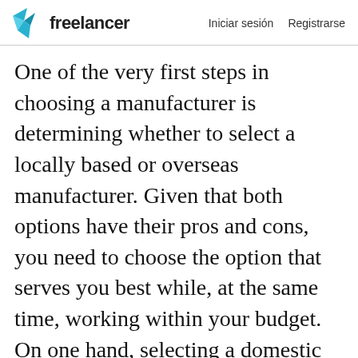freelancer  Iniciar sesión  Registrarse
One of the very first steps in choosing a manufacturer is determining whether to select a locally based or overseas manufacturer. Given that both options have their pros and cons, you need to choose the option that serves you best while, at the same time, working within your budget. On one hand, selecting a domestic manufacturer can mean lower delivery costs, better communication and positive public perception. But, cons such as relatively high costs of production and